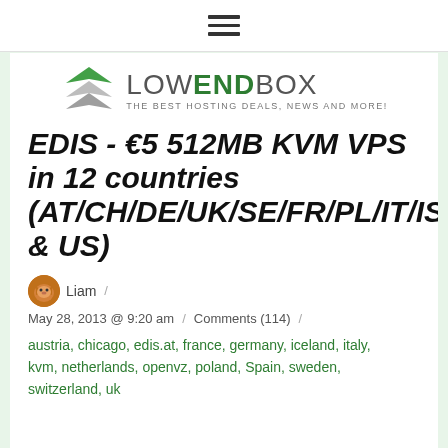[Figure (logo): LowEndBox logo with layered diamond icon in green and gray, text LOW END BOX, tagline THE BEST HOSTING DEALS, NEWS AND MORE!]
EDIS - €5 512MB KVM VPS in 12 countries (AT/CH/DE/UK/SE/FR/PL/IT/IS, & US)
Liam
May 28, 2013 @ 9:20 am / Comments (114) /
austria, chicago, edis.at, france, germany, iceland, italy, kvm, netherlands, openvz, poland, Spain, sweden, switzerland, uk